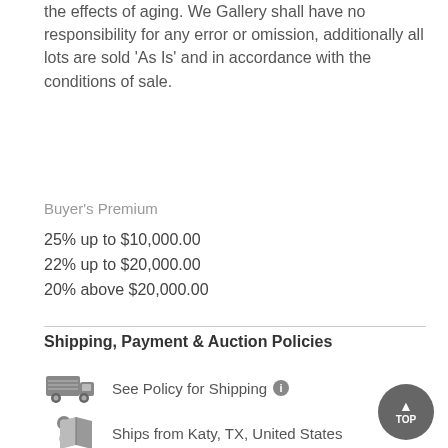the effects of aging. We Gallery shall have no responsibility for any error or omission, additionally all lots are sold 'As Is' and in accordance with the conditions of sale.
Buyer's Premium
25% up to $10,000.00
22% up to $20,000.00
20% above $20,000.00
Shipping, Payment & Auction Policies
See Policy for Shipping
Ships from Katy, TX, United States